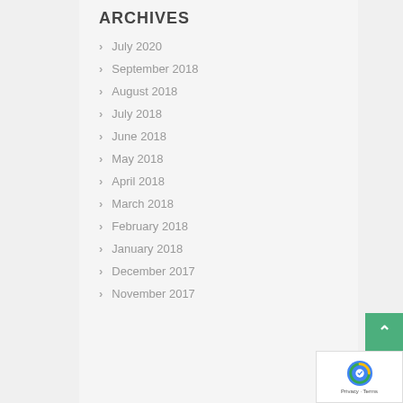ARCHIVES
July 2020
September 2018
August 2018
July 2018
June 2018
May 2018
April 2018
March 2018
February 2018
January 2018
December 2017
November 2017